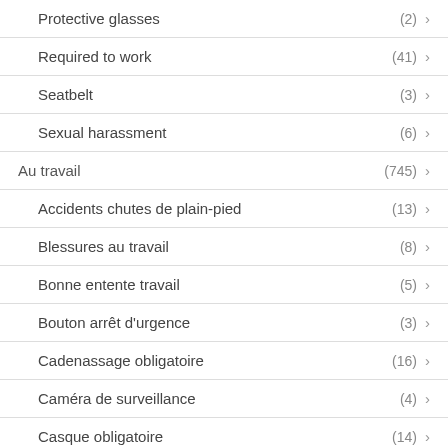Protective glasses (2)
Required to work (41)
Seatbelt (3)
Sexual harassment (6)
Au travail (745)
Accidents chutes de plain-pied (13)
Blessures au travail (8)
Bonne entente travail (5)
Bouton arrêt d'urgence (3)
Cadenassage obligatoire (16)
Caméra de surveillance (4)
Casque obligatoire (14)
Ceinture de sécurité (10)